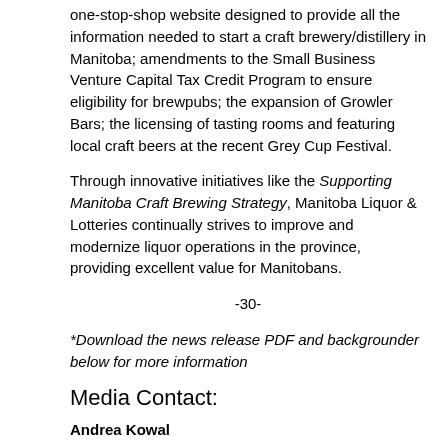one-stop-shop website designed to provide all the information needed to start a craft brewery/distillery in Manitoba; amendments to the Small Business Venture Capital Tax Credit Program to ensure eligibility for brewpubs; the expansion of Growler Bars; the licensing of tasting rooms and featuring local craft beers at the recent Grey Cup Festival.
Through innovative initiatives like the Supporting Manitoba Craft Brewing Strategy, Manitoba Liquor & Lotteries continually strives to improve and modernize liquor operations in the province, providing excellent value for Manitobans.
-30-
*Download the news release PDF and backgrounder below for more information
Media Contact:
Andrea Kowal
Director, Communications & Corporate Affairs
Manitoba Liquor & Lotteries
Phone: 204-957-2500, ext. 2781